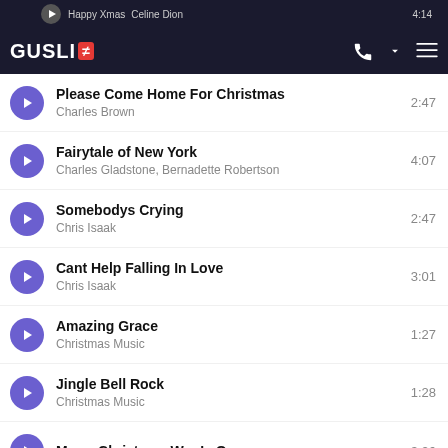Happy Xmas / Celine Dion — GUSLI app header, 4:14
Please Come Home For Christmas — Charles Brown — 2:47
Fairytale of New York — Charles Gladstone, Bernadette Robertson — 4:07
Somebodys Crying — Chris Isaak — 2:47
Cant Help Falling In Love — Chris Isaak — 3:01
Amazing Grace — Christmas Music — 1:27
Jingle Bell Rock — Christmas Music — 1:28
Merry Christmas War Is Over — 3:26